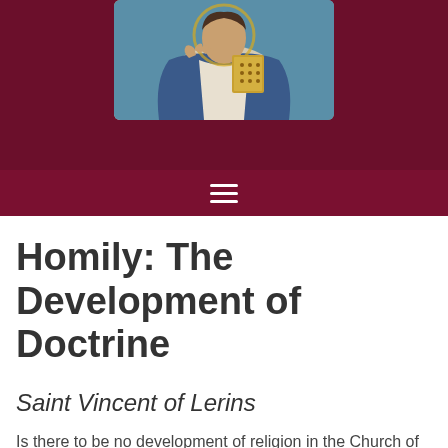[Figure (illustration): Partial view of a religious icon or illustration of a saint figure holding a book, rendered in Byzantine style with gold and blue tones, displayed against a dark crimson background header]
Homily: The Development of Doctrine
Saint Vincent of Lerins
Is there to be no development of religion in the Church of Christ? Certainly, there is to be development and on the largest scale.